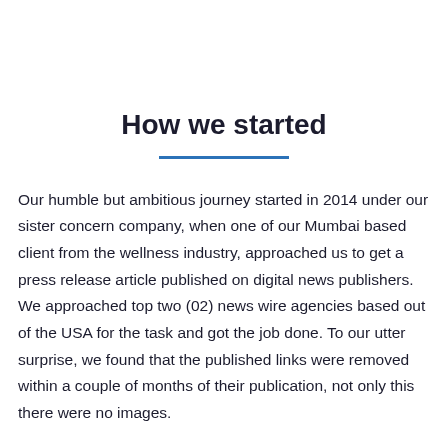How we started
Our humble but ambitious journey started in 2014 under our sister concern company, when one of our Mumbai based client from the wellness industry, approached us to get a press release article published on digital news publishers. We approached top two (02) news wire agencies based out of the USA for the task and got the job done. To our utter surprise, we found that the published links were removed within a couple of months of their publication, not only this there were no images.